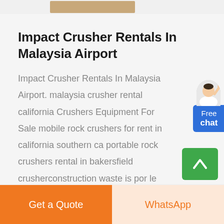[Figure (photo): Partial image strip at top of page showing what appears to be product or location photos]
Impact Crusher Rentals In Malaysia Airport
Impact Crusher Rentals In Malaysia Airport. malaysia crusher rental california Crushers Equipment For Sale mobile rock crushers for rent in california southern ca portable rock crushers rental in bakersfield crusherconstruction waste is por le
[Figure (illustration): Free chat widget with avatar figure and blue button labeled 'Free chat']
[Figure (other): Green scroll-to-top button with upward arrow]
Get a Quote
WhatsApp